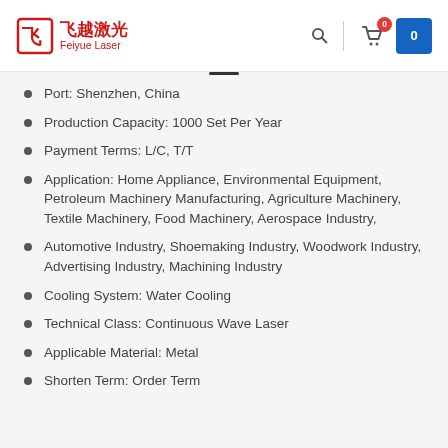Feiyue Laser
Port: Shenzhen, China
Production Capacity: 1000 Set Per Year
Payment Terms: L/C, T/T
Application: Home Appliance, Environmental Equipment, Petroleum Machinery Manufacturing, Agriculture Machinery, Textile Machinery, Food Machinery, Aerospace Industry,
Automotive Industry, Shoemaking Industry, Woodwork Industry, Advertising Industry, Machining Industry
Cooling System: Water Cooling
Technical Class: Continuous Wave Laser
Applicable Material: Metal
Shorten Term: Order Term